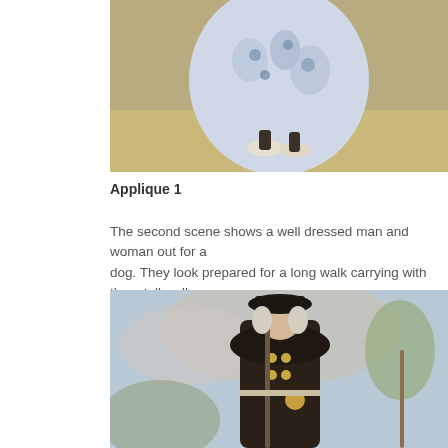[Figure (photo): Cropped painting showing lower half of a well-dressed woman in a blue and white floral gown and dark shoes, standing on a sandy or earthy ground]
Applique 1
The second scene shows a well dressed man and woman out for a walk with a dog. They look prepared for a long walk carrying with them tall wal…
[Figure (photo): Painting detail showing a man in 18th-century dress: black tricorn hat, dark velvet coat with gold buttons and cape, holding a walking stick, with light blue cloudy sky background]